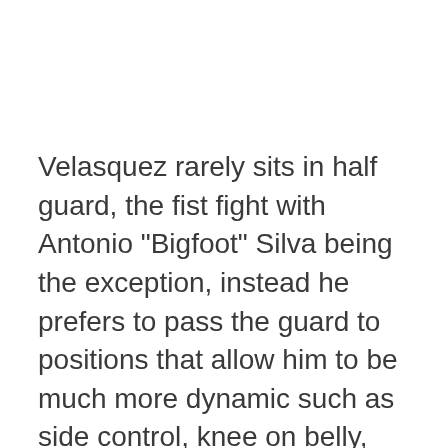Velasquez rarely sits in half guard, the fist fight with Antonio "Bigfoot" Silva being the exception, instead he prefers to pass the guard to positions that allow him to be much more dynamic such as side control, knee on belly, and the wrestling ride.
At the highest levels of any grappling art the concepts of "flow" and "transition" are key. MMA is no exception. One phenomenal example of an MMA transitional attack is the under the armpit punch which has been used very well by someone like Dan Henderson. While Henderson is well known for that strike and was one of